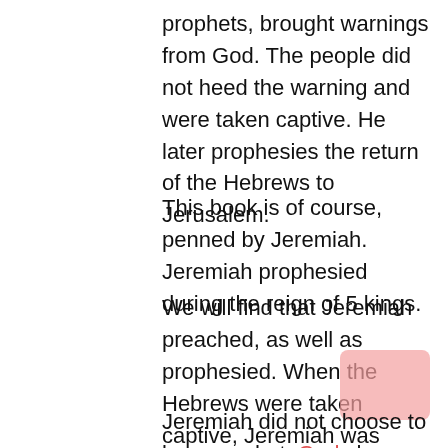prophets, brought warnings from God. The people did not heed the warning and were taken captive. He later prophesies the return of the Hebrews to Jerusalem.
This book is of course, penned by Jeremiah. Jeremiah prophesied during the reign of 5 kings.
We will find that Jeremiah preached, as well as prophesied. When the Hebrews were taken captive, Jeremiah was given the privilege of staying in Jerusalem if he wished, and he stayed. A band of Jews forced him to go to Egypt, and he prophesied there.
Jeremiah did not choose to be a prophet, God chose Jeremiah. God had placed such a